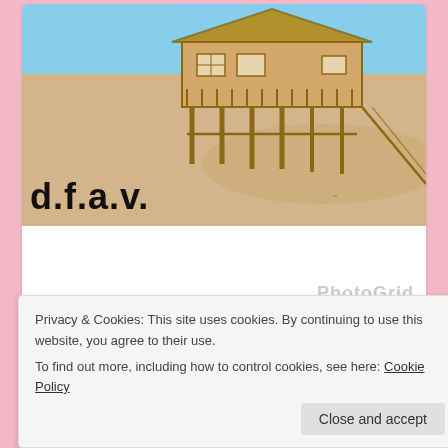[Figure (illustration): A drawing of a beach cottage/house on stilts with a sandy beach scene, watercolor/sketch style. The text 'd.f.a.v.' appears in large bold black letters in the lower left of the image. A 'PhotoGrid' watermark appears in the lower right of the white panel below the illustration.]
Dear Lord,
Quiet here in our Cottage by the Sea tonight
The moon and stars our only light

I lay and listen to the crashing sea
Wondering why You've said no to me.

Is it due to some secret sin I've committed?
Privacy & Cookies: This site uses cookies. By continuing to use this website, you agree to their use.
To find out more, including how to control cookies, see here: Cookie Policy
Close and accept